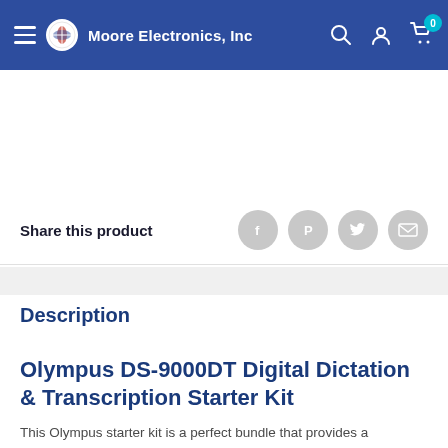Moore Electronics, Inc
Share this product
Description
Olympus DS-9000DT Digital Dictation & Transcription Starter Kit
This Olympus starter kit is a perfect bundle that provides a